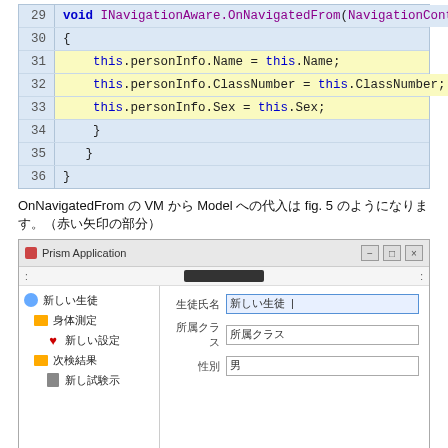[Figure (screenshot): Code block showing lines 29-36 of C# code. Lines 31-33 are highlighted in yellow. Line 29: void INavigationAware.OnNavigatedFrom(NavigationContext n... Line 30: { Line 31: this.personInfo.Name = this.Name; Line 32: this.personInfo.ClassNumber = this.ClassNumber; Line 33: this.personInfo.Sex = this.Sex; Line 34: } Line 35: } Line 36: }]
OnNavigatedFrom の VM から Model への代入は fig. 5 のようになります。（赤い矢印の部分）
[Figure (screenshot): Screenshot of a Prism Application window showing a tree panel on the left with nodes: 新しい生徒, 身体測定, 新しい設定, 次検結果, 新し試験示. On the right is a form with fields: 生徒氏名 (新しい生徒), 所属クラス (所属クラス), 性別 (男).]